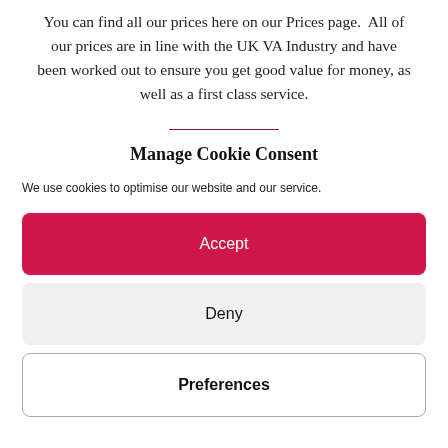You can find all our prices here on our Prices page.  All of our prices are in line with the UK VA Industry and have been worked out to ensure you get good value for money, as well as a first class service.
Manage Cookie Consent
We use cookies to optimise our website and our service.
Accept
Deny
Preferences